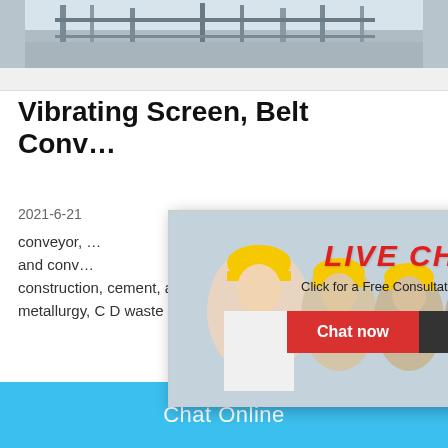[Figure (photo): Industrial facility photo showing equipment infrastructure, partially visible at top of page]
Vibrating Screen, Belt Conv…
2021-6-21 … conveyor, … and conv… construction, cement, agricultural, coal, c… metallurgy, C D waste industrial, etc. Her…
[Figure (screenshot): Live chat popup overlay with workers in hard hats photo, LIVE CHAT text in red italic, 'Click for a Free Consultation', Chat now (red) and Chat later (black) buttons]
[Figure (screenshot): Satisfaction widget on right side with gauge meter showing smiley faces, Click me to chat button, Enquiry section, cywaitml@gmail.com email]
Chat Online
cywaitml @gmail.com